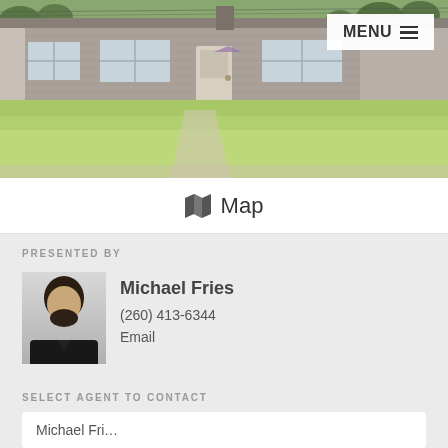[Figure (photo): Exterior photo of a single-story ranch-style house with brick/siding facade, large front lawn with green grass, concrete walkway, and trees in background. MENU button visible in top-right corner.]
MENU ☰
🗺 Map
PRESENTED BY
[Figure (photo): Headshot of Michael Fries, a man with dark hair and beard wearing a black jacket, photographed against a light gray background.]
Michael Fries
(260) 413-6344
Email
SELECT AGENT TO CONTACT
Michael Fri...